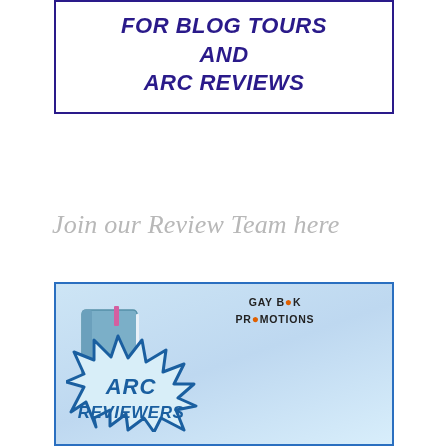[Figure (infographic): White box with dark navy border containing bold italic text: FOR BLOG TOURS AND ARC REVIEWS]
Join our Review Team here
[Figure (infographic): Gay Book Promotions ARC Reviewers promotional image with light blue background, notebook illustration, starburst shape, and text ARC REVIEWERS]